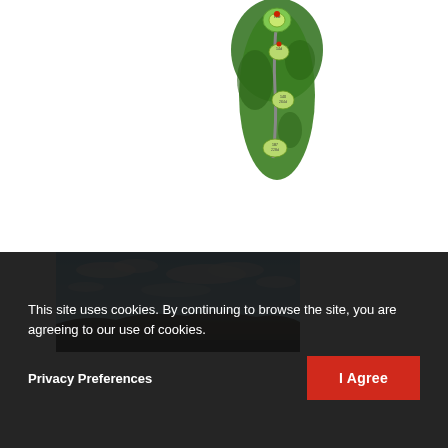[Figure (illustration): Aerial/overhead illustrated map of a golf hole showing the fairway, rough areas, and distance markers. The hole runs from top to bottom with a curved gray path indicating the fairway. Distance markers visible at approximately 140/264, and 187/228 yards. The green area is at the top.]
[Figure (photo): Landscape photograph showing a golf course or open moorland with a blue sky and scattered white clouds. Rolling dark hills visible on the horizon.]
This site uses cookies. By continuing to browse the site, you are agreeing to our use of cookies.
Privacy Preferences